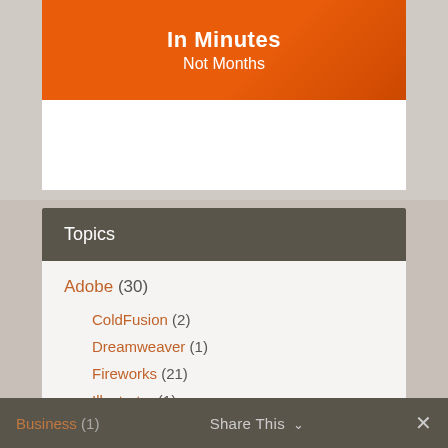[Figure (illustration): Orange banner with white text reading 'In Minutes Not Months', partial view of a promotional graphic on white card background]
Topics
Adobe (30)
ColdFusion (2)
Dreamweaver (1)
Fireworks (21)
Illustrator (1)
Blogging (7)
Business (1)
Share This ∨  ✕